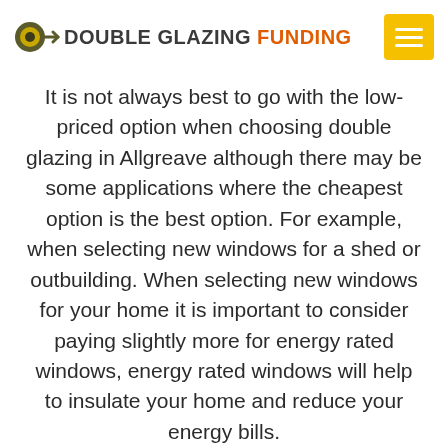[Figure (logo): Double Glazing Funding logo with icon and text, plus hamburger menu button]
It is not always best to go with the low-priced option when choosing double glazing in Allgreave although there may be some applications where the cheapest option is the best option. For example, when selecting new windows for a shed or outbuilding. When selecting new windows for your home it is important to consider paying slightly more for energy rated windows, energy rated windows will help to insulate your home and reduce your energy bills.